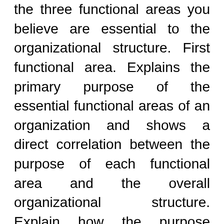the three functional areas you believe are essential to the organizational structure. First functional area. Explains the primary purpose of the essential functional areas of an organization and shows a direct correlation between the purpose of each functional area and the overall organizational structure. Explain how the purpose supports organizational goals. Second functional area. Explain the primary purpose. Explain how the purpose supports organizational goals. Third functional area. Explain the primary purpose. Explain how the purpose supports organizational goals. Describe the type of organizational structure best suited for the